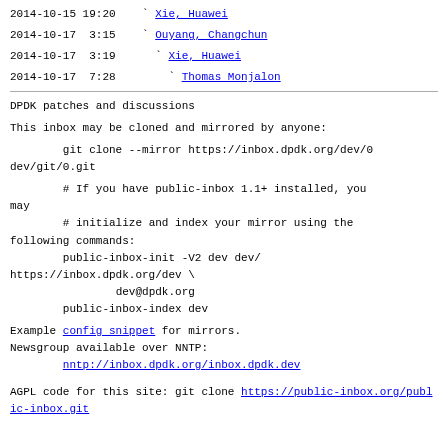2014-10-15 19:20    ` Xie, Huawei
2014-10-17  3:15    ` Ouyang, Changchun
2014-10-17  3:19      ` Xie, Huawei
2014-10-17  7:28        ` Thomas Monjalon
DPDK patches and discussions
This inbox may be cloned and mirrored by anyone:
git clone --mirror https://inbox.dpdk.org/dev/0
dev/git/0.git
# If you have public-inbox 1.1+ installed, you may
        # initialize and index your mirror using the
following commands:
        public-inbox-init -V2 dev dev/
https://inbox.dpdk.org/dev \
                dev@dpdk.org
        public-inbox-index dev
Example config snippet for mirrors.
Newsgroup available over NNTP:
        nntp://inbox.dpdk.org/inbox.dpdk.dev
AGPL code for this site: git clone https://public-inbox.org/public-inbox.git